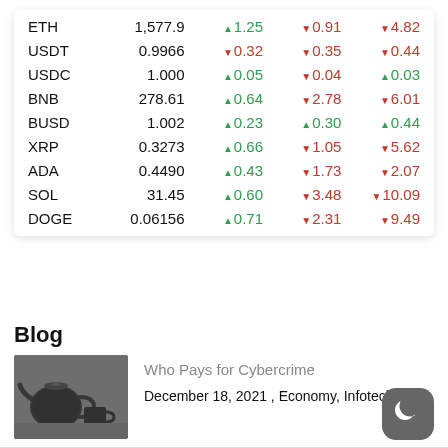|  | Price | Col1 | Col2 | Col3 |
| --- | --- | --- | --- | --- |
| ETH | 1,577.9 | ▲1.25 | ▼0.91 | ▼4.82 |
| USDT | 0.9966 | ▼0.32 | ▼0.35 | ▼0.44 |
| USDC | 1.000 | ▲0.05 | ▼0.04 | ▲0.03 |
| BNB | 278.61 | ▲0.64 | ▼2.78 | ▼6.01 |
| BUSD | 1.002 | ▲0.23 | ▲0.30 | ▲0.44 |
| XRP | 0.3273 | ▲0.66 | ▼1.05 | ▼5.62 |
| ADA | 0.4490 | ▲0.43 | ▼1.73 | ▼2.07 |
| SOL | 31.45 | ▲0.60 | ▼3.48 | ▼10.09 |
| DOGE | 0.06156 | ▲0.71 | ▼2.31 | ▼9.49 |
Blog
[Figure (photo): Black kettle and cup on a table, grayscale photo]
Who Pays for Cybercrime
December 18, 2021 , Economy, Infotech